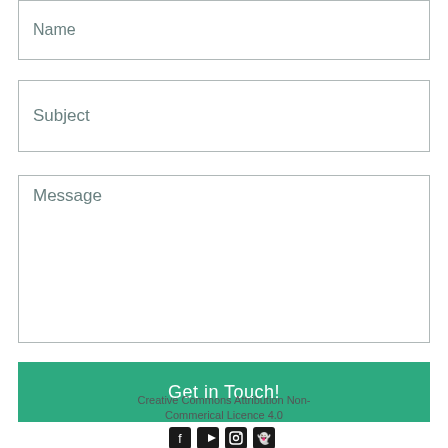Name
Subject
Message
Get in Touch!
Creative Commons Attribution Non-Commerical Licence 4.0